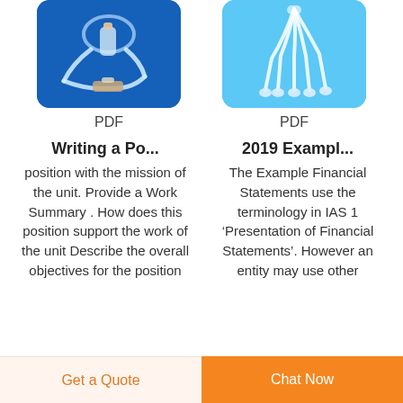[Figure (photo): Medical IV infusion set tubing with syringe on blue background]
PDF
[Figure (photo): Medical catheter tubes with connectors on light blue background]
PDF
Writing a Po...
position with the mission of the unit. Provide a Work Summary . How does this position support the work of the unit Describe the overall objectives for the position
2019 Exampl...
The Example Financial Statements use the terminology in IAS 1 ‘Presentation of Financial Statements’. However an entity may use other
Get a Quote
Chat Now